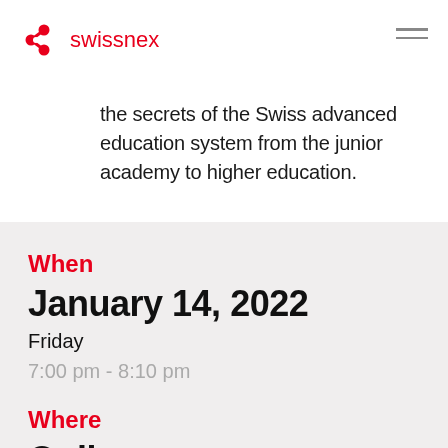[Figure (logo): Swissnex logo with red molecular/clover icon and red text 'swissnex']
the secrets of the Swiss advanced education system from the junior academy to higher education.
When
January 14, 2022
Friday
7:00 pm - 8:10 pm
Where
Online